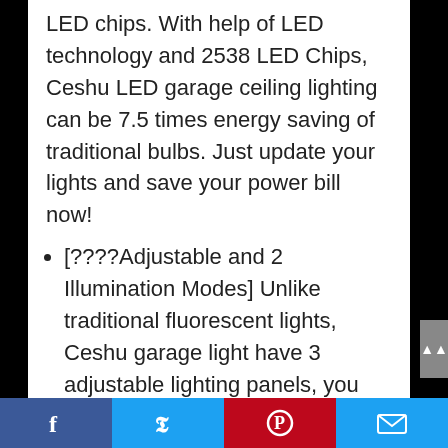LED chips. With help of LED technology and 2538 LED Chips, Ceshu LED garage ceiling lighting can be 7.5 times energy saving of traditional bulbs. Just update your lights and save your power bill now!
[????Adjustable and 2 Illumination Modes] Unlike traditional fluorescent lights, Ceshu garage light have 3 adjustable lighting panels, you can adjust them up and down 90 degree to get what light directions you want. When you lay down panels, you will get 180-degree illumination mode to focus
Facebook | Twitter | Pinterest | Email